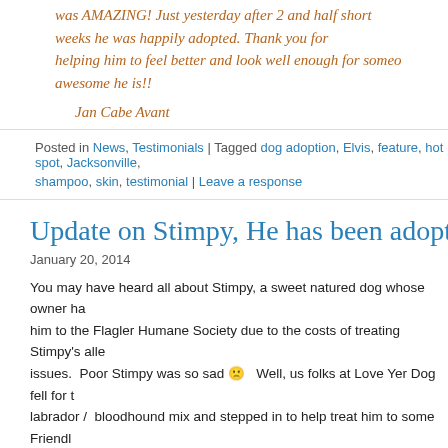was AMAZING! Just yesterday after 2 and half short weeks he was happily adopted. Thank you for helping him to feel better and look well enough for someone to see how awesome he is!!
Jan Cabe Avant
Posted in News, Testimonials | Tagged dog adoption, Elvis, feature, hot spot, Jacksonville, shampoo, skin, testimonial | Leave a response
Update on Stimpy, He has been adopt...
January 20, 2014
You may have heard all about Stimpy, a sweet natured dog whose owner ha... him to the Flagler Humane Society due to the costs of treating Stimpy's alle... issues. Poor Stimpy was so sad 🙁 Well, us folks at Love Yer Dog fell for t... labrador / bloodhound mix and stepped in to help treat him to some Friendl... and Hot Spot Remedy. After teaming up with the FHS staff, we met with a w... volunteer by the name of Ed who took a special interest in helping us help S... bathed and treated Stimpy three times a week and was amazed by the im...